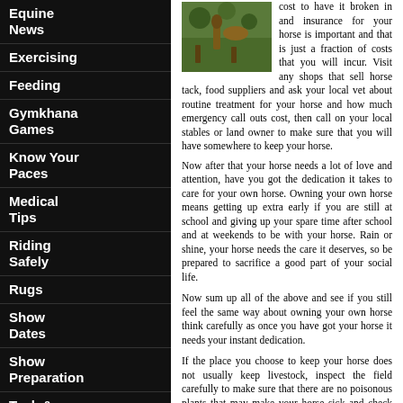Equine News
Exercising
Feeding
Gymkhana Games
Know Your Paces
Medical Tips
Riding Safely
Rugs
Show Dates
Show Preparation
Tack & Equipment
Jobs
Links
[Figure (photo): Photo of a horse or horse-related scene with green foliage background]
cost to have it broken in and insurance for your horse is important and that is just a fraction of costs that you will incur. Visit any shops that sell horse tack, food suppliers and ask your local vet about routine treatment for your horse and how much emergency call outs cost, then call on your local stables or land owner to make sure that you will have somewhere to keep your horse.
Now after that your horse needs a lot of love and attention, have you got the dedication it takes to care for your own horse. Owning your own horse means getting up extra early if you are still at school and giving up your spare time after school and at weekends to be with your horse. Rain or shine, your horse needs the care it deserves, so be prepared to sacrifice a good part of your social life.
Now sum up all of the above and see if you still feel the same way about owning your own horse think carefully as once you have got your horse it needs your instant dedication.
If the place you choose to keep your horse does not usually keep livestock, inspect the field carefully to make sure that there are no poisonous plants that may make your horse sick and check all the hedges for gaps where your horse may escape, an open shelter is always nice for your horse when there is bad weather, but if a shelter is not possible look for a field with some trees or high hedges for shelter. Water for your horse to drink in the form of a stream or trough is an